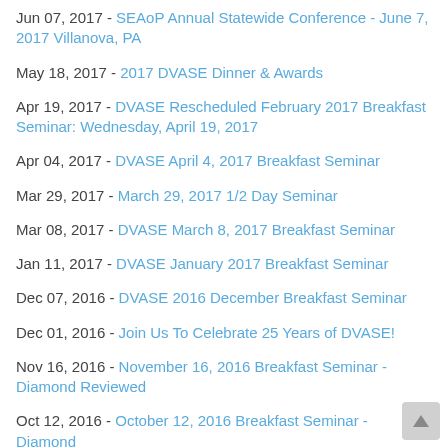Jun 07, 2017 - SEAoP Annual Statewide Conference - June 7, 2017 Villanova, PA
May 18, 2017 - 2017 DVASE Dinner & Awards
Apr 19, 2017 - DVASE Rescheduled February 2017 Breakfast Seminar: Wednesday, April 19, 2017
Apr 04, 2017 - DVASE April 4, 2017 Breakfast Seminar
Mar 29, 2017 - March 29, 2017 1/2 Day Seminar
Mar 08, 2017 - DVASE March 8, 2017 Breakfast Seminar
Jan 11, 2017 - DVASE January 2017 Breakfast Seminar
Dec 07, 2016 - DVASE 2016 December Breakfast Seminar
Dec 01, 2016 - Join Us To Celebrate 25 Years of DVASE!
Nov 16, 2016 - November 16, 2016 Breakfast Seminar - Diamond Reviewed
Oct 12, 2016 - October 12, 2016 Breakfast Seminar - Diamond